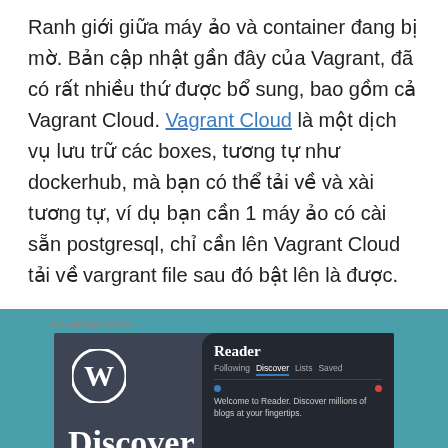Ranh giới giữa máy ảo và container đang bị mờ. Bản cập nhật gần đây của Vagrant, đã có rất nhiều thứ được bổ sung, bao gồm cả Vagrant Cloud. Vagrant Cloud là một dịch vụ lưu trữ các boxes, tương tự như dockerhub, mà bạn có thể tải về và xài tương tự, ví dụ bạn cần 1 máy ảo có cài sẵn postgresql, chỉ cần lên Vagrant Cloud tải về vargrant file sau đó bật lên là được.
Advertisements
[Figure (screenshot): WordPress advertisement banner showing WordPress logo, 'Discover new reads' text, and a phone mockup with Reader app interface]
Advertisements
[Figure (screenshot): DuckDuckGo advertisement banner with orange left panel 'Search, browse, and email with more privacy. All in One Free App' and dark right panel with DuckDuckGo logo]